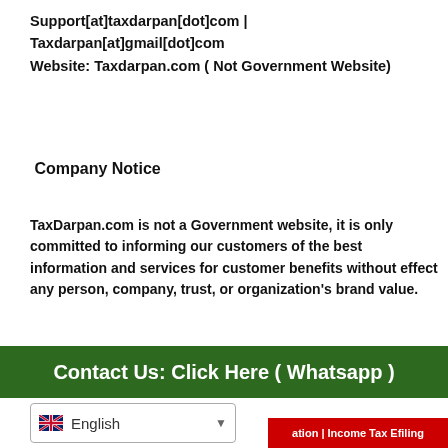Support[at]taxdarpan[dot]com | Taxdarpan[at]gmail[dot]com
Website: Taxdarpan.com ( Not Government Website)
Company Notice
TaxDarpan.com is not a Government website, it is only committed to informing our customers of the best information and services for customer benefits without effect any person, company, trust, or organization's brand value.
Tax Darpan @ 2017  •  Powered by Tax Darpan
Contact Us: Click Here ( Whatsapp )
English
ation | Income Tax Efiling